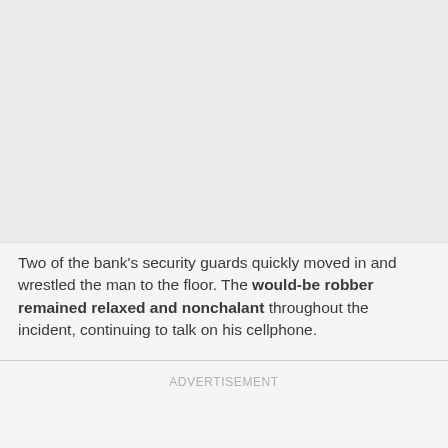[Figure (photo): Large image placeholder area at top of page, light gray background]
Two of the bank's security guards quickly moved in and wrestled the man to the floor. The would-be robber remained relaxed and nonchalant throughout the incident, continuing to talk on his cellphone.
ADVERTISEMENT